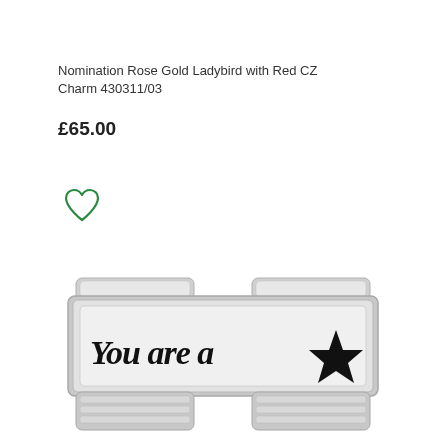Nomination Rose Gold Ladybird with Red CZ Charm 430311/03
£65.00
[Figure (illustration): Green outline heart icon (wishlist/favourite button)]
[Figure (photo): Silver double charm bracelet link engraved with 'You are a ★' text and black star, showing two connector links at top and bottom with ridged edges]